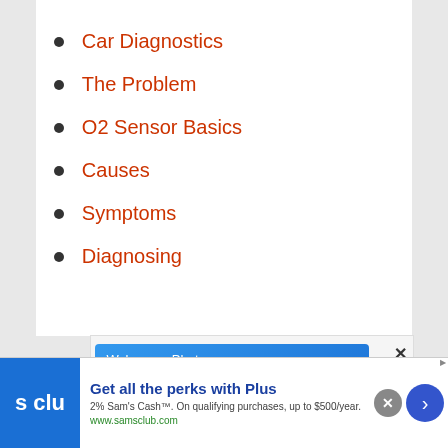[Figure (other): Black horizontal bar at top of page]
Car Diagnostics
The Problem
O2 Sensor Basics
Causes
Symptoms
Diagnosing
[Figure (other): Walgreens Photo advertisement: Shop Walgreens Brand, Shop Walgreens Brand Health & Wellness Today]
[Figure (other): Sam's Club banner ad: Get all the perks with Plus. 2% Sam's Cash. On qualifying purchases, up to $500/year. www.samsclub.com]